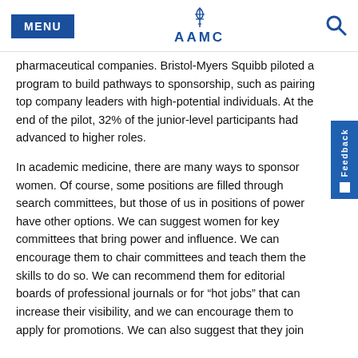MENU | AAMC | [search icon]
pharmaceutical companies. Bristol-Myers Squibb piloted a program to build pathways to sponsorship, such as pairing top company leaders with high-potential individuals. At the end of the pilot, 32% of the junior-level participants had advanced to higher roles.
In academic medicine, there are many ways to sponsor women. Of course, some positions are filled through search committees, but those of us in positions of power have other options. We can suggest women for key committees that bring power and influence. We can encourage them to chair committees and teach them the skills to do so. We can recommend them for editorial boards of professional journals or for “hot jobs” that can increase their visibility, and we can encourage them to apply for promotions. We can also suggest that they join